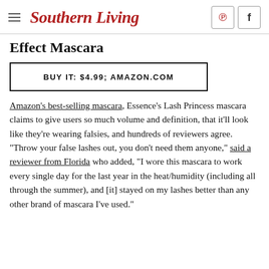Southern Living
Effect Mascara
BUY IT: $4.99; AMAZON.COM
Amazon's best-selling mascara, Essence's Lash Princess mascara claims to give users so much volume and definition, that it'll look like they're wearing falsies, and hundreds of reviewers agree. "Throw your false lashes out, you don't need them anyone," said a reviewer from Florida who added, "I wore this mascara to work every single day for the last year in the heat/humidity (including all through the summer), and [it] stayed on my lashes better than any other brand of mascara I've used."